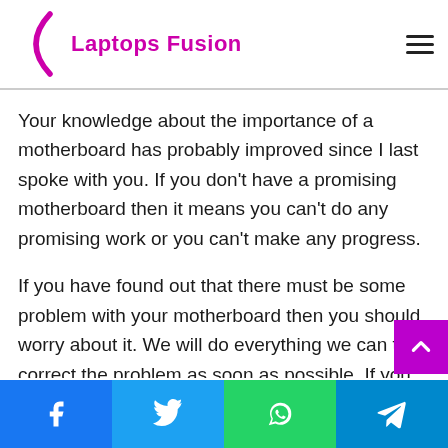Laptops Fusion
Your knowledge about the importance of a motherboard has probably improved since I last spoke with you. If you don't have a promising motherboard then it means you can't do any promising work or you can't make any progress.
If you have found out that there must be some problem with your motherboard then you should worry about it. We will do everything we can to correct the problem as soon as possible. If you have a warranty card and your warranty is currently available then it's the best shot. Take your device to
Facebook | Twitter | WhatsApp | Telegram